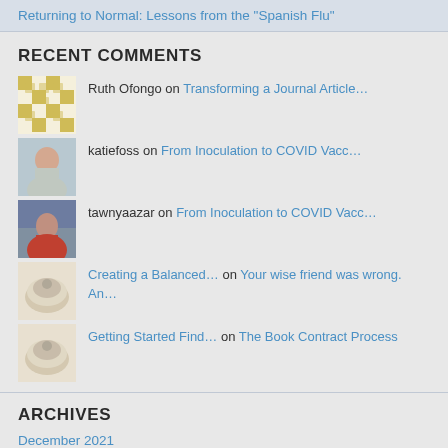Returning to Normal: Lessons from the “Spanish Flu”
RECENT COMMENTS
Ruth Ofongo on Transforming a Journal Article…
katiefoss on From Inoculation to COVID Vacc…
tawnyaazar on From Inoculation to COVID Vacc…
Creating a Balanced… on Your wise friend was wrong. An…
Getting Started Find… on The Book Contract Process
ARCHIVES
December 2021